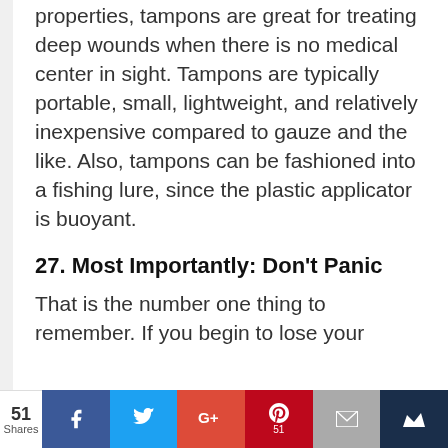properties, tampons are great for treating deep wounds when there is no medical center in sight. Tampons are typically portable, small, lightweight, and relatively inexpensive compared to gauze and the like. Also, tampons can be fashioned into a fishing lure, since the plastic applicator is buoyant.
27. Most Importantly: Don't Panic
That is the number one thing to remember. If you begin to lose your
[Figure (infographic): Social sharing bar at bottom: 51 Shares count on left, then Facebook (blue), Twitter (light blue), Google+ (red), Pinterest (dark red, shows 51), Email (gray), Crown/bookmark (dark navy) buttons.]